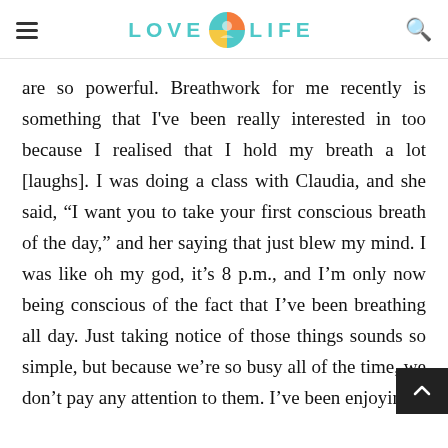LOVE LIFE
are so powerful. Breathwork for me recently is something that I've been really interested in too because I realised that I hold my breath a lot [laughs]. I was doing a class with Claudia, and she said, “I want you to take your first conscious breath of the day,” and her saying that just blew my mind. I was like oh my god, it’s 8 p.m., and I’m only now being conscious of the fact that I’ve been breathing all day. Just taking notice of those things sounds so simple, but because we’re so busy all of the time, we don’t pay any attention to them. I’ve been enjoying